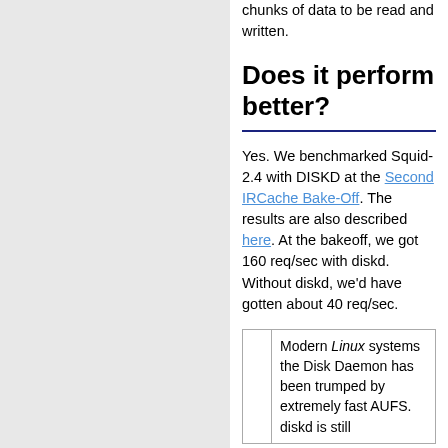chunks of data to be read and written.
Does it perform better?
Yes. We benchmarked Squid-2.4 with DISKD at the Second IRCache Bake-Off. The results are also described here. At the bakeoff, we got 160 req/sec with diskd. Without diskd, we'd have gotten about 40 req/sec.
Modern Linux systems the Disk Daemon has been trumped by extremely fast AUFS. diskd is still